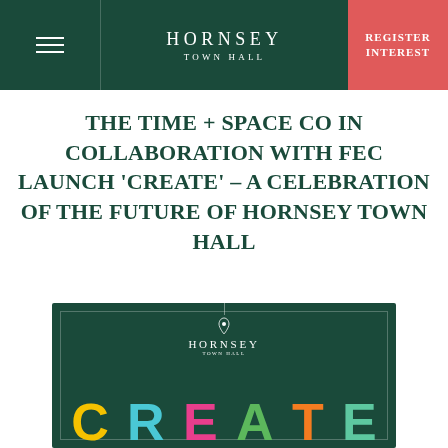HORNSEY TOWN HALL | REGISTER INTEREST
THE TIME + SPACE CO IN COLLABORATION WITH FEC LAUNCH ‘CREATE’ – A CELEBRATION OF THE FUTURE OF HORNSEY TOWN HALL
[Figure (logo): Hornsey Town Hall branded card with colorful CREATE lettering on dark green background]